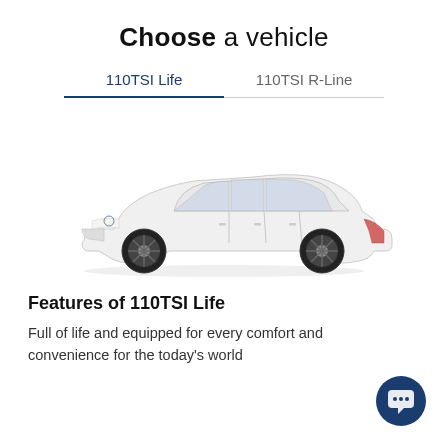Choose a vehicle
110TSI Life	110TSI R-Line
[Figure (photo): Side profile view of a white Volkswagen Golf hatchback on a white background]
Features of 110TSI Life
Full of life and equipped for every comfort and convenience for the today's world